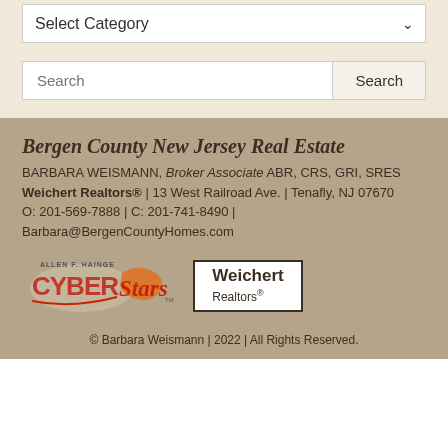Select Category
Search
Bergen County New Jersey Real Estate
BARBARA WEISMANN, Broker Associate ABR, CRS, GRI, SRES
Weichert Realtors® | 13 West Railroad Ave. | Tenafly, NJ 07670
O: 201-569-7888 | C: 201-741-8490 |
Barbara@BergenCountyHomes.com
[Figure (logo): Allen F. Hainge CyberStars logo in red and orange]
[Figure (logo): Weichert Realtors logo in black and white box]
© Barbara Weismann | 2022 | All Rights Reserved.